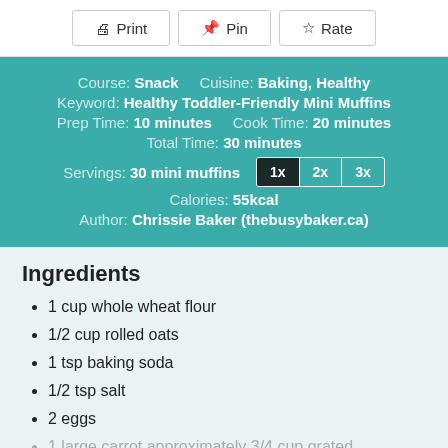Print | Pin | Rate
Course: Snack   Cuisine: Baking, Healthy
Keyword: Healthy Toddler-Friendly Mini Muffins
Prep Time: 10 minutes   Cook Time: 20 minutes
Total Time: 30 minutes
Servings: 30 mini muffins   1x 2x 3x
Calories: 55kcal
Author: Chrissie Baker (thebusybaker.ca)
Ingredients
1 cup whole wheat flour
1/2 cup rolled oats
1 tsp baking soda
1/2 tsp salt
2 eggs
1 large carrot approximately 3/4 cup grated
1/2 cup grated zucchini